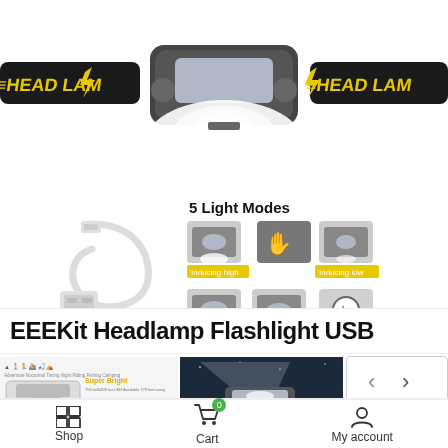[Figure (photo): Headlamp with black and yellow strap showing HEAD LAM branding, emitting white light from center LED]
[Figure (photo): White USB charging cable with micro USB connector]
5 Light Modes
[Figure (photo): 5 light modes of the headlamp: Inducing high, Inducing low (hand gesture), High, Low, Strobe with magnifying glass icon]
[Figure (photo): Collage showing Super Bright text, activity icons (Adventure, Nocturnal, Timing, Night Riding, Fishing, Camping), headlamp product shot, and night beam photo]
[Figure (photo): Navigation arrows: left and right chevrons in rounded rectangle]
EEEKit Headlamp Flashlight USB
Shop  Cart  My account